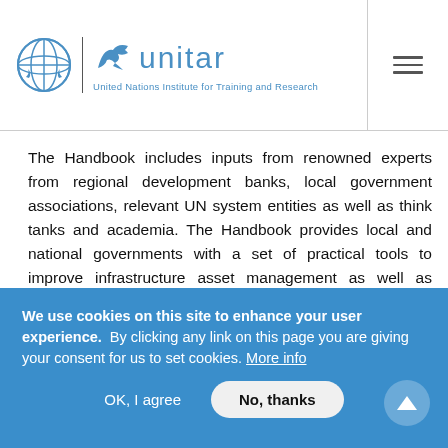UNITAR - United Nations Institute for Training and Research
The Handbook includes inputs from renowned experts from regional development banks, local government associations, relevant UN system entities as well as think tanks and academia. The Handbook provides local and national governments with a set of practical tools to improve infrastructure asset management as well as guidance on how to adapt these tools to the socio-economic and environmental challenges of our time.

Register here.
We use cookies on this site to enhance your user experience.  By clicking any link on this page you are giving your consent for us to set cookies. More info